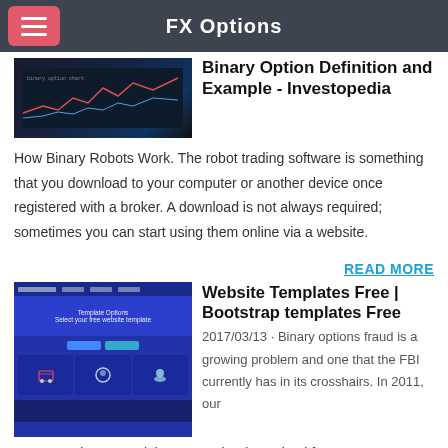FX Options
[Figure (screenshot): Dark financial chart screenshot thumbnail]
Binary Option Definition and Example - Investopedia
How Binary Robots Work. The robot trading software is something that you download to your computer or another device once registered with a broker. A download is not always required; sometimes you can start using them online via a website.
READ MORE
[Figure (screenshot): Website templates free bootstrap templates screenshot]
Website Templates Free | Bootstrap templates Free
2017/03/13 · Binary options fraud is a growing problem and one that the FBI currently has in its crosshairs. In 2011, our Internet Crime Complaint Center (IC3) received four …
[Figure (screenshot): Partial thumbnail of third article, teal/blue color]